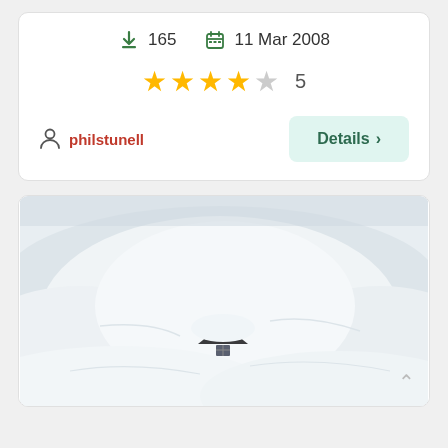165  11 Mar 2008
★★★★☆ 5
philstunell
Details ›
[Figure (photo): A small wooden cabin almost completely buried under deep white snow drifts, with only the roof peak and a small window visible.]